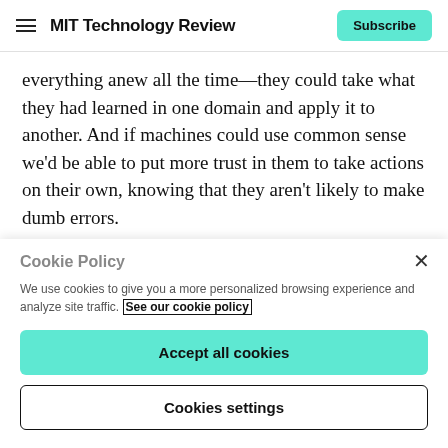MIT Technology Review | Subscribe
everything anew all the time—they could take what they had learned in one domain and apply it to another. And if machines could use common sense we'd be able to put more trust in them to take actions on their own, knowing that they aren't likely to make dumb errors.
Today's AI has only a limited ability to infer what will result from a given action. In reinforcement learning, a
Cookie Policy
We use cookies to give you a more personalized browsing experience and analyze site traffic. See our cookie policy
Accept all cookies
Cookies settings